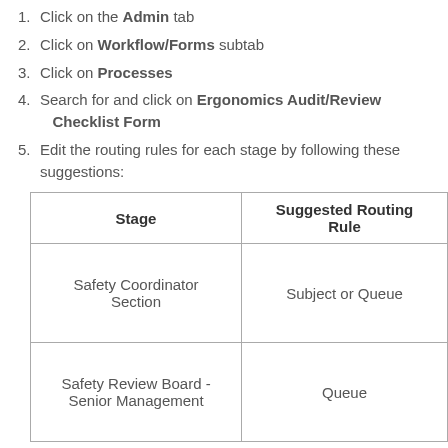1. Click on the Admin tab
2. Click on Workflow/Forms subtab
3. Click on Processes
4. Search for and click on Ergonomics Audit/Review Checklist Form
5. Edit the routing rules for each stage by following these suggestions:
| Stage | Suggested Routing Rule |
| --- | --- |
| Safety Coordinator Section | Subject or Queue |
| Safety Review Board - Senior Management | Queue |